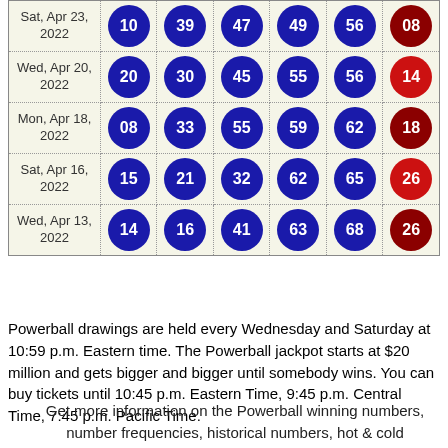| Date | Ball1 | Ball2 | Ball3 | Ball4 | Ball5 | Powerball |
| --- | --- | --- | --- | --- | --- | --- |
| Sat, Apr 23, 2022 | 10 | 39 | 47 | 49 | 56 | 08 |
| Wed, Apr 20, 2022 | 20 | 30 | 45 | 55 | 56 | 14 |
| Mon, Apr 18, 2022 | 08 | 33 | 55 | 59 | 62 | 18 |
| Sat, Apr 16, 2022 | 15 | 21 | 32 | 62 | 65 | 26 |
| Wed, Apr 13, 2022 | 14 | 16 | 41 | 63 | 68 | 26 |
Powerball drawings are held every Wednesday and Saturday at 10:59 p.m. Eastern time. The Powerball jackpot starts at $20 million and gets bigger and bigger until somebody wins. You can buy tickets until 10:45 p.m. Eastern Time, 9:45 p.m. Central Time, 7:45 p.m. Pacific Time.
Get more information on the Powerball winning numbers, number frequencies, historical numbers, hot & cold